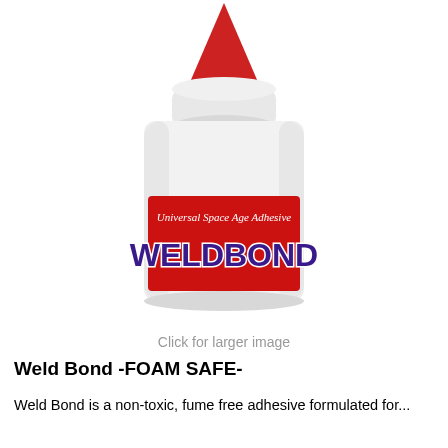[Figure (photo): Photo of Weld Bond adhesive bottle with white body, red pointed cap/nozzle, and red label reading 'Universal Space Age Adhesive WELDBOND']
Click for larger image
Weld Bond -FOAM SAFE-
Weld Bond is a non-toxic, fume free adhesive formulated for...